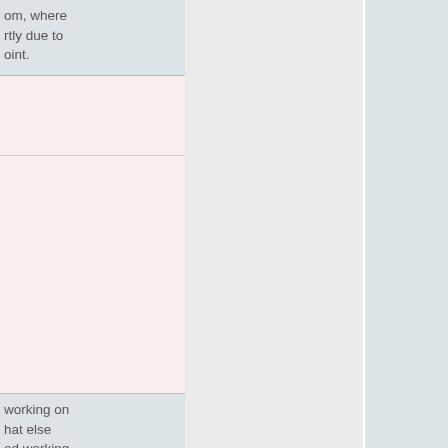om, where rtly due to oint.
working on hat else ed working specifically eam, Lutris, c etc… often have s work lls to s also te give you ages. This actively ms running ssues. At also Expect